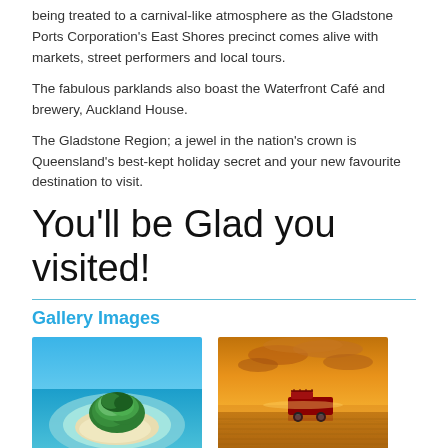being treated to a carnival-like atmosphere as the Gladstone Ports Corporation's East Shores precinct comes alive with markets, street performers and local tours.
The fabulous parklands also boast the Waterfront Café and brewery, Auckland House.
The Gladstone Region; a jewel in the nation's crown is Queensland's best-kept holiday secret and your new favourite destination to visit.
You'll be Glad you visited!
Gallery Images
[Figure (photo): Aerial view of a small tropical island with white sand beach and turquoise water]
[Figure (photo): A red vehicle on a beach at sunset with dramatic orange sky and sand patterns]